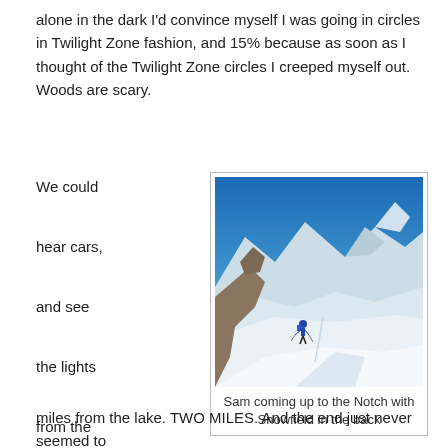alone in the dark I'd convince myself I was going in circles in Twilight Zone fashion, and 15% because as soon as I thought of the Twilight Zone circles I creeped myself out. Woods are scary.
We could hear cars, and see the lights from the dam, and yet we never seemed to reach the end of the trail. It's two freaking
[Figure (photo): A person climbing up a steep snow slope toward a rocky notch, with snow-covered mountain peaks and a bright blue sky in the background (Snowfield in the back).]
Sam coming up to the Notch with Snowfield in the back
miles from the lake. TWO MILES. And the end just never seemed to